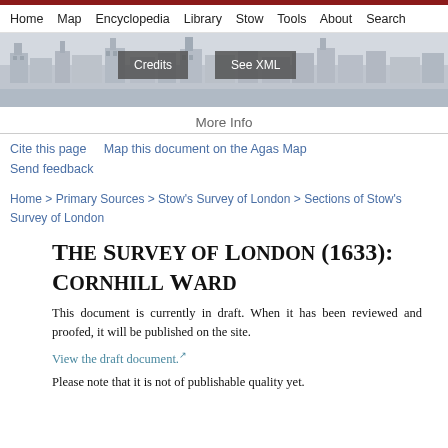Home  Map  Encyclopedia  Library  Stow  Tools  About  Search
[Figure (illustration): Engraving/woodcut style panoramic view of old London cityscape used as banner image, with two overlay buttons: Credits and See XML]
More Info
Cite this page    Map this document on the Agas Map
Send feedback
Home > Primary Sources > Stow's Survey of London > Sections of Stow's Survey of London
The Survey of London (1633): Cornhill Ward
This document is currently in draft. When it has been reviewed and proofed, it will be published on the site.
View the draft document.
Please note that it is not of publishable quality yet.